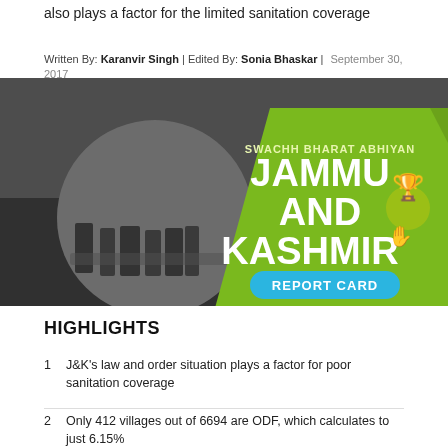also plays a factor for the limited sanitation coverage
Written By: Karanvir Singh | Edited By: Sonia Bhaskar | September 30, 2017
[Figure (infographic): Swachh Bharat Abhiyan – Jammu and Kashmir Report Card banner with boats background, green diagonal design, trophy icon and blue pill button saying REPORT CARD]
HIGHLIGHTS
J&K's law and order situation plays a factor for poor sanitation coverage
Only 412 villages out of 6694 are ODF, which calculates to just 6.15%